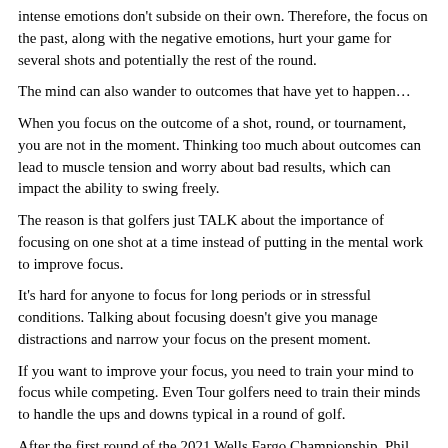intense emotions don't subside on their own. Therefore, the focus on the past, along with the negative emotions, hurt your game for several shots and potentially the rest of the round.
The mind can also wander to outcomes that have yet to happen…
When you focus on the outcome of a shot, round, or tournament, you are not in the moment. Thinking too much about outcomes can lead to muscle tension and worry about bad results, which can impact the ability to swing freely.
The reason is that golfers just TALK about the importance of focusing on one shot at a time instead of putting in the mental work to improve focus.
It's hard for anyone to focus for long periods or in stressful conditions. Talking about focusing doesn't give you manage distractions and narrow your focus on the present moment.
If you want to improve your focus, you need to train your mind to focus while competing. Even Tour golfers need to train their minds to handle the ups and downs typical in a round of golf.
After the first round of the 2021 Wells Fargo Championship, Phil Mickelson had a two-shot lead over the field. Mickelson carded a total of eight birdies and only one bogey.